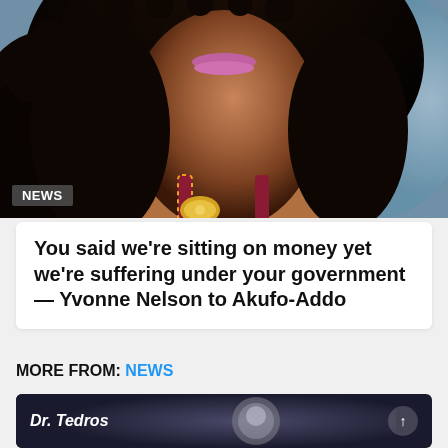[Figure (photo): Close-up photo of a woman with curly hair, glossy pink lipstick, wearing a patterned top with yellow and burgundy colors. NEWS badge overlay at bottom left.]
You said we’re sitting on money yet we’re suffering under your government — Yvonne Nelson to Akufo-Addo
MORE FROM: NEWS
[Figure (photo): Dark-toned image card with text 'Dr. Tedros' in bold white italic font on dark background. Scroll arrow button visible on right.]